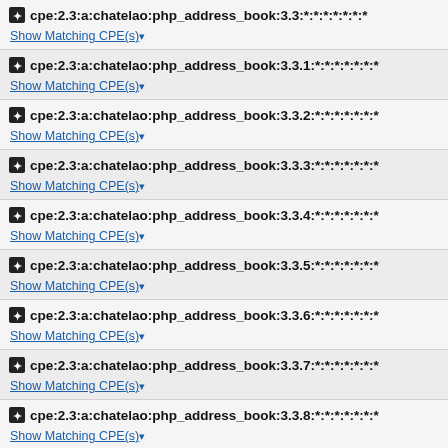cpe:2.3:a:chatelao:php_address_book:3.3:*:*:*:*:*:*:*
cpe:2.3:a:chatelao:php_address_book:3.3.1:*:*:*:*:*:*:*
cpe:2.3:a:chatelao:php_address_book:3.3.2:*:*:*:*:*:*:*
cpe:2.3:a:chatelao:php_address_book:3.3.3:*:*:*:*:*:*:*
cpe:2.3:a:chatelao:php_address_book:3.3.4:*:*:*:*:*:*:*
cpe:2.3:a:chatelao:php_address_book:3.3.5:*:*:*:*:*:*:*
cpe:2.3:a:chatelao:php_address_book:3.3.6:*:*:*:*:*:*:*
cpe:2.3:a:chatelao:php_address_book:3.3.7:*:*:*:*:*:*:*
cpe:2.3:a:chatelao:php_address_book:3.3.8:*:*:*:*:*:*:*